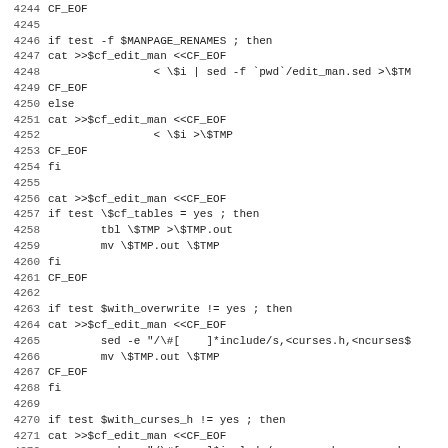Code listing lines 4244-4275, shell script fragment
4244 CF_EOF
4245
4246 if test -f $MANPAGE_RENAMES ; then
4247 cat >>$cf_edit_man <<CF_EOF
4248                 < \$i | sed -f `pwd`/edit_man.sed >\$TM
4249 CF_EOF
4250 else
4251 cat >>$cf_edit_man <<CF_EOF
4252                 < \$i >\$TMP
4253 CF_EOF
4254 fi
4255
4256 cat >>$cf_edit_man <<CF_EOF
4257 if test \$cf_tables = yes ; then
4258         tbl \$TMP >\$TMP.out
4259         mv \$TMP.out \$TMP
4260 fi
4261 CF_EOF
4262
4263 if test $with_overwrite != yes ; then
4264 cat >>$cf_edit_man <<CF_EOF
4265         sed -e "/\#[   ]*include/s,<curses.h,<ncurses$
4266         mv \$TMP.out \$TMP
4267 CF_EOF
4268 fi
4269
4270 if test $with_curses_h != yes ; then
4271 cat >>$cf_edit_man <<CF_EOF
4272         sed -e "/\#[   ]*include/s,curses.h,ncurses.h,
4273         mv \$TMP.out \$TMP
4274 CF_EOF
4275 fi